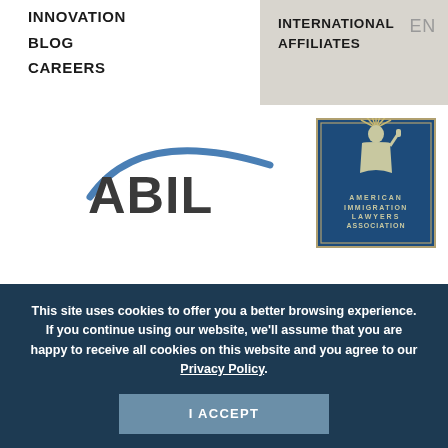INNOVATION
BLOG
CAREERS
INTERNATIONAL AFFILIATES
EN
[Figure (logo): ABIL logo — stylized arc above bold text 'ABIL' in dark gray with blue arc]
[Figure (logo): American Immigration Lawyers Association logo — Statue of Liberty icon with text 'AMERICAN IMMIGRATION LAWYERS ASSOCIATION' on dark blue background]
This site uses cookies to offer you a better browsing experience. If you continue using our website, we'll assume that you are happy to receive all cookies on this website and you agree to our Privacy Policy.
I ACCEPT